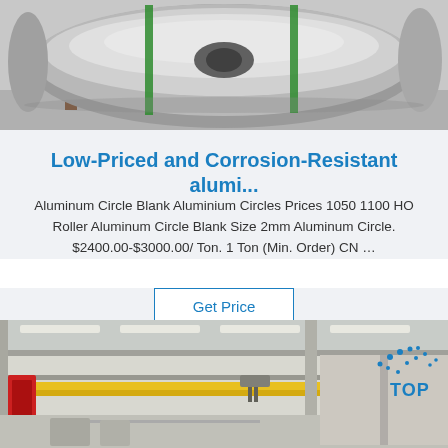[Figure (photo): Large aluminum coil roll resting on wooden pallet supports in a warehouse, with green straps around it. The coil is shiny silver/metallic. Text label visible on the wooden pallet.]
Low-Priced and Corrosion-Resistant alumi...
Aluminum Circle Blank Aluminium Circles Prices 1050 1100 HO Roller Aluminum Circle Blank Size 2mm Aluminum Circle. $2400.00-$3000.00/ Ton. 1 Ton (Min. Order) CN …
Get Price
[Figure (photo): Interior of an industrial factory or warehouse with overhead crane beams painted yellow, metal structure columns, and fluorescent lighting on the ceiling. A 'TOP' logo/watermark with blue dots is visible in the upper-right corner of the image.]